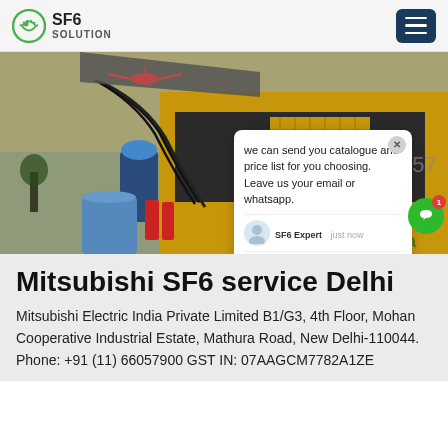SF6 SOLUTION
[Figure (photo): Worker in blue hardhat connecting cables to yellow industrial SF6 gas equipment on a truck, with a helicopter visible in the background. A chat popup overlay appears on the right side of the image showing: 'we can send you catalogue and price list for you choosing. Leave us your email or whatsapp.' with SF6 Expert 'just now' and a Write input field.]
Mitsubishi SF6 service Delhi
Mitsubishi Electric India Private Limited B1/G3, 4th Floor, Mohan Cooperative Industrial Estate, Mathura Road, New Delhi-110044. Phone: +91 (11) 66057900 GST IN: 07AAGCM7782A1ZE